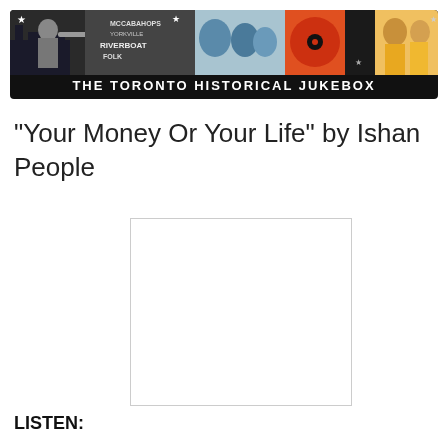[Figure (illustration): The Toronto Historical Jukebox banner with collage of black and white and color images of musicians and performers, with text 'THE TORONTO HISTORICAL JUKEBOX' on dark background]
"Your Money Or Your Life" by Ishan People
[Figure (other): Empty white placeholder box, likely for album art or media player]
LISTEN: